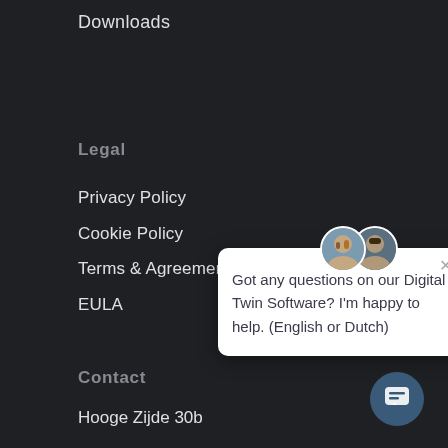Downloads
Legal
Privacy Policy
Cookie Policy
Terms & Agreement
EULA
[Figure (screenshot): Chat popup widget with two avatar photos and text: Got any questions on our Digital Twin Software? I'm happy to help. (English or Dutch)]
Contact
Hooge Zijde 30b